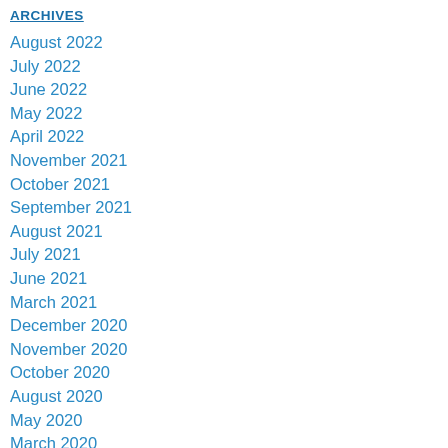ARCHIVES
August 2022
July 2022
June 2022
May 2022
April 2022
November 2021
October 2021
September 2021
August 2021
July 2021
June 2021
March 2021
December 2020
November 2020
October 2020
August 2020
May 2020
March 2020
December 2019
November 2019